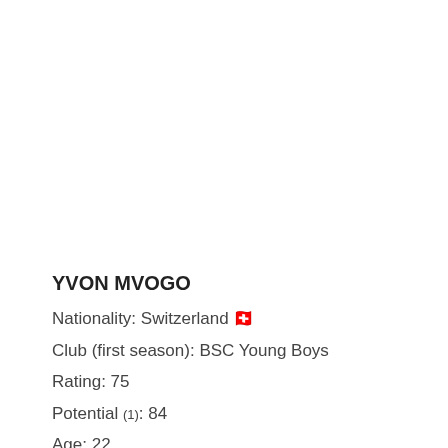YVON MVOGO
Nationality: Switzerland 🇨🇭
Club (first season): BSC Young Boys
Rating: 75
Potential (1): 84
Age: 22
Mvogo is already a good goalkeeper for most of the clubs. Soon, he will be a good goalkeeper for any